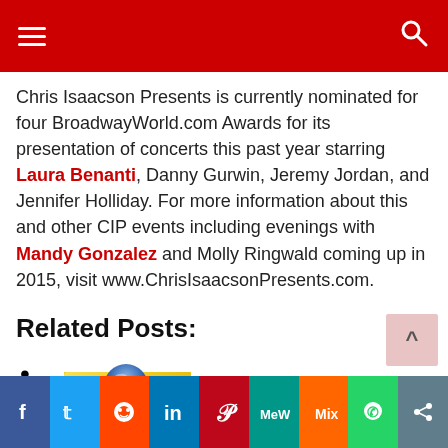Navigation bar with hamburger menu and search icon
Chris Isaacson Presents is currently nominated for four BroadwayWorld.com Awards for its presentation of concerts this past year starring Laura Benanti, Danny Gurwin, Jeremy Jordan, and Jennifer Holliday. For more information about this and other CIP events including evenings with Mandy Gonzalez and Molly Ringwald coming up in 2015, visit www.ChrisIsaacsonPresents.com.
Related Posts:
[Figure (illustration): A yellow sticky note with a blue push pin/thumbtack on it]
Social sharing bar: Facebook, Twitter, Reddit, LinkedIn, Pinterest, MeWe, Mix, WhatsApp, Share